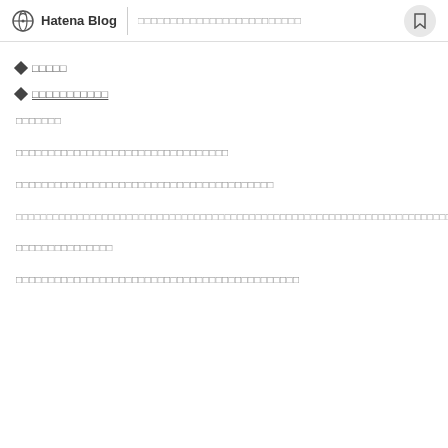Hatena Blog | □□□□□□□□□□□□□□□□□□□□□□□□□
◆□□□□□
◆□□□□□□□□□□□
□□□□□□□
□□□□□□□□□□□□□□□□□□□□□□□□□□□□□□□□□
□□□□□□□□□□□□□□□□□□□□□□□□□□□□□□□□□□□□□□□□
□□□□□□□□□□□□□□□□□□□□□□□□□□□□□□□□□□□□□□□□□□□□□□□□□□□□□□□□□□□□□□□□□□□□□□□□□□□□□□□□□□□□□□□□□□□□
□□□□□□□□□□□□□□□
□□□□□□□□□□□□□□□□□□□□□□□□□□□□□□□□□□□□□□□□□□□□